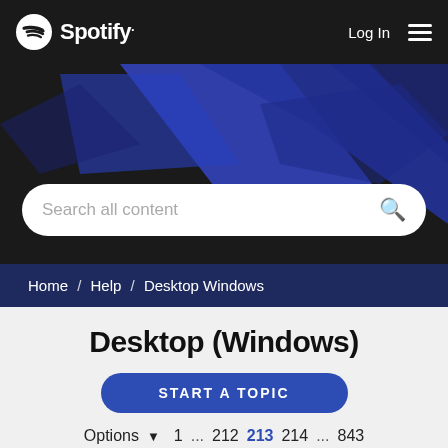[Figure (screenshot): Spotify navigation bar with logo, Log In link, and hamburger menu]
[Figure (screenshot): Hero banner with blue geometric shapes on dark background and search bar reading 'Search all content']
Home / Help / Desktop Windows
Desktop (Windows)
START A TOPIC
Options  1 ... 212 213 214 ... 843
[Troubleshooting] Windows